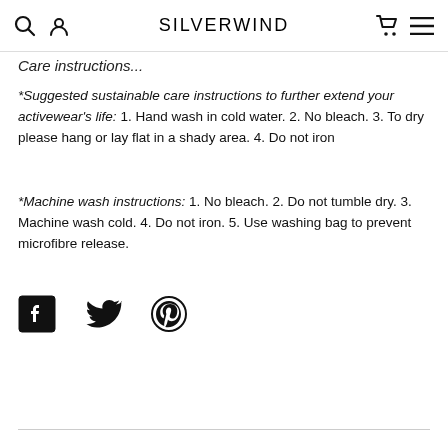SILVERWIND
Care Instructions...
*Suggested sustainable care instructions to further extend your activewear's life: 1. Hand wash in cold water. 2. No bleach. 3. To dry please hang or lay flat in a shady area. 4. Do not iron
*Machine wash instructions: 1. No bleach. 2. Do not tumble dry. 3. Machine wash cold. 4. Do not iron. 5. Use washing bag to prevent microfibre release.
[Figure (other): Social media share icons: Facebook, Twitter, Pinterest]